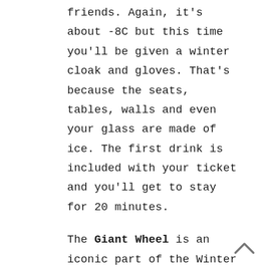friends. Again, it's about -8C but this time you'll be given a winter cloak and gloves. That's because the seats, tables, walls and even your glass are made of ice. The first drink is included with your ticket and you'll get to stay for 20 minutes.
The Giant Wheel is an iconic part of the Winter Wonderland landscape but, I'll admit, I've never been on it. The queues have always been so long and, apart from looking down on Winter Wonderland, I'm not sure how appealing the views would be from up there. But it could well